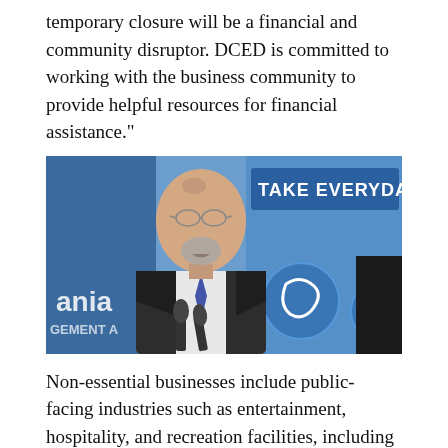temporary closure will be a financial and community disruptor. DCED is committed to working with the business community to provide helpful resources for financial assistance."
[Figure (photo): A man in a suit and tie speaking at a podium with microphones, with a blue banner reading 'TAKE EVERYDAY' visible in the background along with Pennsylvania Emergency Management Agency signage and circular health icons.]
Non-essential businesses include public-facing industries such as entertainment, hospitality, and recreation facilities, including but not limited to community and recreation centers; gyms, including yoga, barre and spin facilities; hair salons and barber shops, nail salons and spas; casinos;